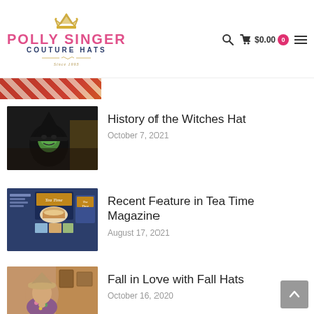POLLY SINGER COUTURE HATS — Since 1993
[Figure (photo): Partial image visible at top — striped red and beige pattern]
History of the Witches Hat
October 7, 2021
[Figure (photo): The Wicked Witch of the West character with green face and black pointed hat from Wizard of Oz]
Recent Feature in Tea Time Magazine
August 17, 2021
[Figure (photo): Tea Time Magazine spread with food and lifestyle photography on a dark blue background]
Fall in Love with Fall Hats
October 16, 2020
[Figure (photo): Woman wearing a tan/beige hat sitting in a warm kitchen setting]